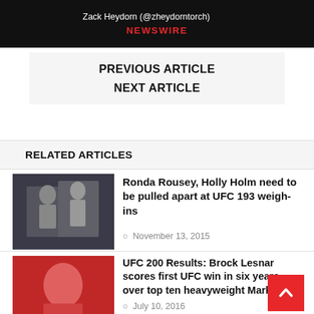Zack Heydorn (@zheydorntorch) NEWSWIRE
PREVIOUS ARTICLE
NEXT ARTICLE
RELATED ARTICLES
Ronda Rousey, Holly Holm need to be pulled apart at UFC 193 weigh-ins
November 13, 2015
UFC 200 Results: Brock Lesnar scores first UFC win in six years over top ten heavyweight Mark Hunt
July 10, 2016
MMATorch Cast (6/3) So much MMA!
June 23, 2019